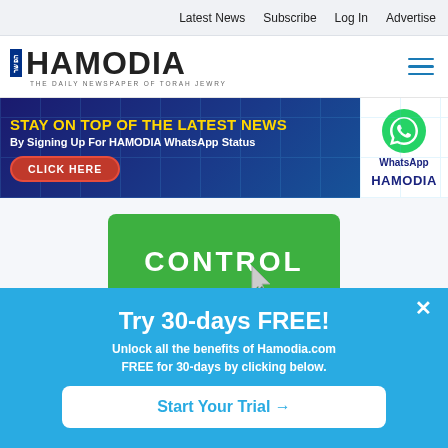Latest News  Subscribe  Log In  Advertise
[Figure (logo): Hamodia newspaper logo with Hebrew text and tagline 'THE DAILY NEWSPAPER OF TORAH JEWRY']
[Figure (infographic): WhatsApp promotional banner: 'STAY ON TOP OF THE LATEST NEWS By Signing Up For HAMODIA WhatsApp Status - CLICK HERE' with WhatsApp logo and HAMODIA branding]
[Figure (screenshot): Green button with text CONTROL and a computer cursor arrow]
[Figure (infographic): Light blue popup: 'Try 30-days FREE! Unlock all the benefits of Hamodia.com FREE for 30-days by clicking below.' with 'Start Your Trial →' button]